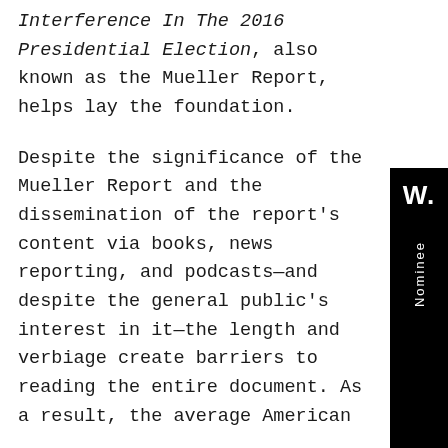Interference In The 2016 Presidential Election, also known as the Mueller Report, helps lay the foundation.
Despite the significance of the Mueller Report and the dissemination of the report's content via books, news reporting, and podcasts—and despite the general public's interest in it—the length and verbiage create barriers to reading the entire document. As a result, the average American